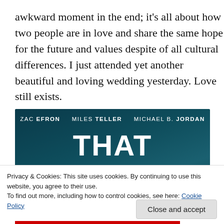awkward moment in the end; it's all about how two people are in love and share the same hope for the future and values despite of all cultural differences. I just attended yet another beautiful and loving wedding yesterday. Love still exists.
[Figure (screenshot): Movie banner for 'That Awkward Moment' featuring ZAC EFRON, MILES TELLER, MICHAEL B. JORDAN on a dark teal background. The word THAT appears in white and AWKWARD appears in yellow-green.]
Privacy & Cookies: This site uses cookies. By continuing to use this website, you agree to their use.
To find out more, including how to control cookies, see here: Cookie Policy
Close and accept